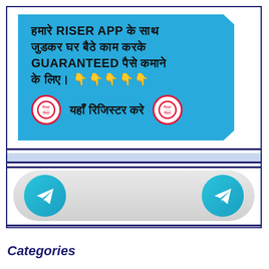[Figure (infographic): Blue hexagonal/clipped banner with Hindi and English text promoting RISER APP for work-from-home guaranteed earnings, with two RISER logo icons and registration call to action]
[Figure (infographic): Rounded rectangular button with gradient grey background containing two Telegram icons (blue circles with paper plane symbol) on left and right sides]
Categories